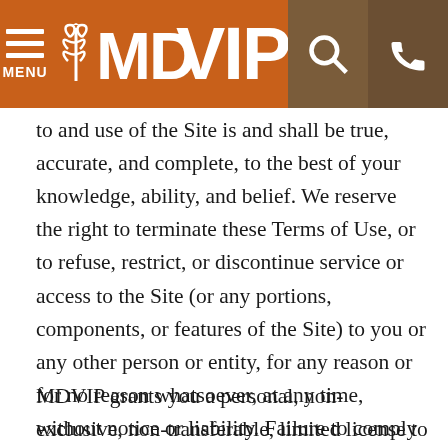MDVIP — MENU / Search / Phone header
to and use of the Site is and shall be true, accurate, and complete, to the best of your knowledge, ability, and belief. We reserve the right to terminate these Terms of Use, or to refuse, restrict, or discontinue service or access to the Site (or any portions, components, or features of the Site) to you or any other person or entity, for any reason or for no reason whatsoever, at any time, without notice or liability. Failure to comply with these Terms of Use may, among other things, result in the immediate termination of your access to and use of the Site.
MDVIP grants you a personal, non-exclusive, non-transferable, limited license to use the Site and to view or access the Services available on the Site